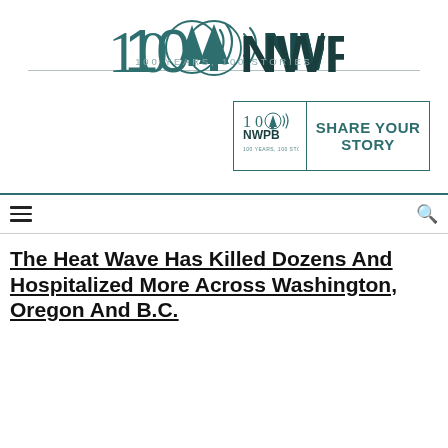[Figure (logo): 100 NWPB logo with tree icon and radio waves, teal/dark teal color scheme]
100 YEARS, 100 STORIES
[Figure (logo): Share Your Story box with 100 NWPB logo on left and SHARE YOUR STORY text on right, teal border]
The Heat Wave Has Killed Dozens And Hospitalized More Across Washington, Oregon And B.C.